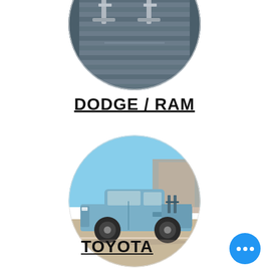[Figure (photo): Circular cropped photo of a truck bed interior with bike mounts/racks, viewed from above, dark gray bed liner]
DODGE / RAM
[Figure (photo): Circular cropped photo of a blue Toyota Tacoma TRD truck parked outdoors with construction in the background, bike rack mounted in bed]
TOYOTA